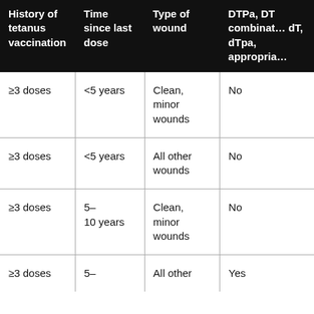| History of tetanus vaccination | Time since last dose | Type of wound | DTPa, DT combination, dT, dTpa, as appropriate |
| --- | --- | --- | --- |
| ≥3 doses | <5 years | Clean, minor wounds | No |
| ≥3 doses | <5 years | All other wounds | No |
| ≥3 doses | 5–10 years | Clean, minor wounds | No |
| ≥3 doses | 5– | All other | Yes |